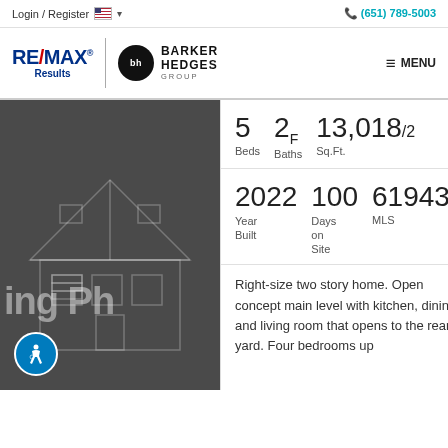Login / Register   (651) 789-5003
[Figure (logo): RE/MAX Results and Barker Hedges Group logo with MENU button]
[Figure (photo): Dark blueprint/rendering of a house with overlaid text 'ing Ph']
5 Beds   2F Baths   13,018/2 Sq.Ft.
2022 Year Built   100 Days on Site   619433: MLS
Right-size two story home. Open concept main level with kitchen, dining and living room that opens to the rear yard. Four bedrooms up